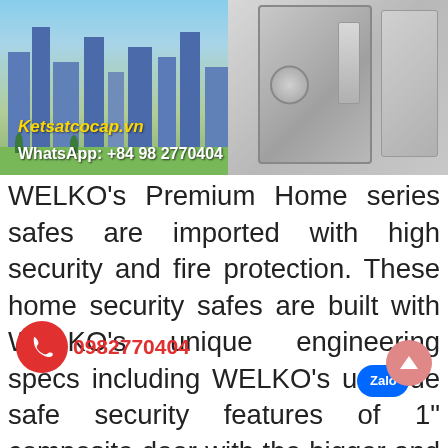[Figure (photo): Banner image showing city high-rise buildings on the left and a large WELKO safe on the right, with 'Ketsatcocap.vn' logo in yellow and 'WhatsApp: +84 98 2770404' in white text overlaid at the bottom]
WELKO's Premium Home series safes are imported with high security and fire protection. These home security safes are built with WELKO's unique engineering specs including WELKO's unique safe security features of 1" composite door with the bigger and longer 1.25" bolts. WELKO's fire home safes achieve 90 minutes of fire protection with an steel body to add